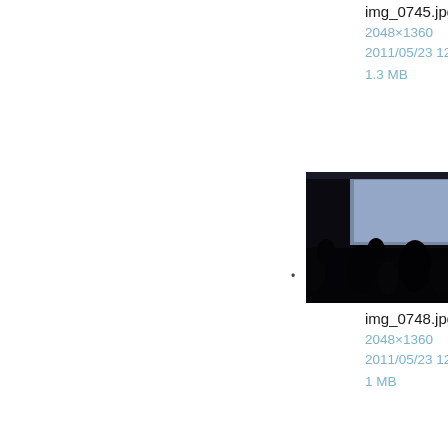img_0745.jpg
2048×1360
2011/05/23 12:01
1.3 MB
[Figure (photo): Dark indoor scene with people silhouetted against a projected screen in a conference/lecture setting]
img_0748.jpg
2048×1360
2011/05/23 12:01
1 MB
[Figure (photo): Large conference hall with rows of attendees and a screen at the front]
img_6406.jpg
5472×3648
2016/12/15 13:01
5.3 MB
[Figure (photo): Portrait photo of a man with glasses and brown hair, smiling slightly]